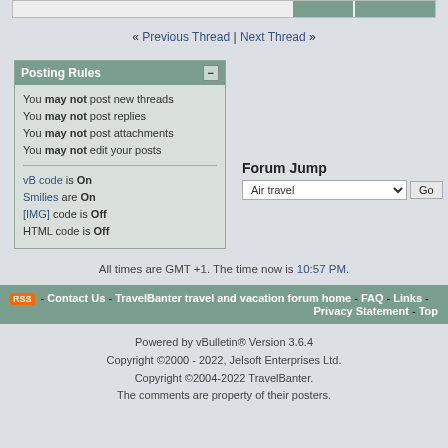« Previous Thread | Next Thread »
Posting Rules
You may not post new threads
You may not post replies
You may not post attachments
You may not edit your posts
vB code is On
Smilies are On
[IMG] code is Off
HTML code is Off
Forum Jump
All times are GMT +1. The time now is 10:57 PM.
Contact Us - TravelBanter travel and vacation forum home - FAQ - Links - Privacy Statement - Top
Powered by vBulletin® Version 3.6.4
Copyright ©2000 - 2022, Jelsoft Enterprises Ltd.
Copyright ©2004-2022 TravelBanter.
The comments are property of their posters.